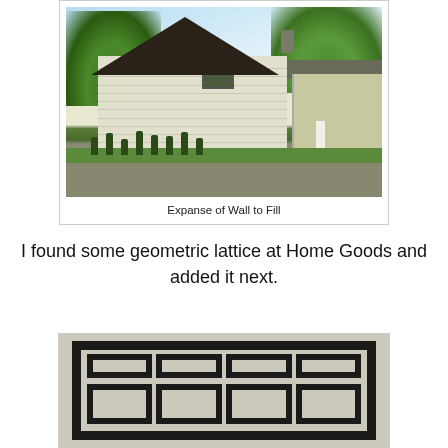[Figure (photo): Photograph of a house with white vinyl siding, a steep gabled roof, small upstairs window, trees in background, small plantings along the base of the wall, and a driveway. A smaller adjacent structure is visible on the right.]
Expanse of Wall to Fill
I found some geometric lattice at Home Goods and added it next.
[Figure (photo): Close-up photograph of a black geometric lattice decoration (rectangular grid pattern with inner rectangles) mounted on a light-colored wall.]